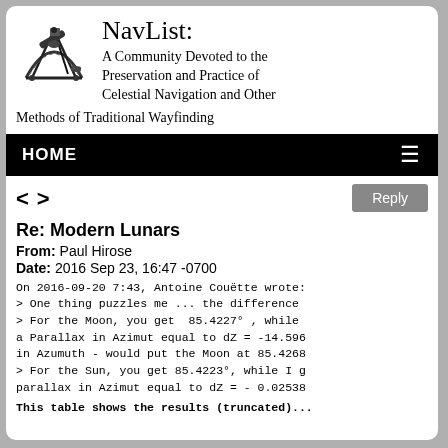[Figure (logo): NavList sextant logo - black and white illustration of a sextant instrument]
NavList:
A Community Devoted to the Preservation and Practice of Celestial Navigation and Other Methods of Traditional Wayfinding
HOME
Re: Modern Lunars
From: Paul Hirose
Date: 2016 Sep 23, 16:47 -0700
On 2016-09-20 7:43, Antoine Couëtte wrote:
> One thing puzzles me ... the difference
> For the Moon, you get  85.4227° , while
a Parallax in Azimut equal to dZ = -14.596
in Azumuth - would put the Moon at 85.4268
> For the Sun, you get 85.4223°, while I g
parallax in Azimut equal to dZ = - 0.02538